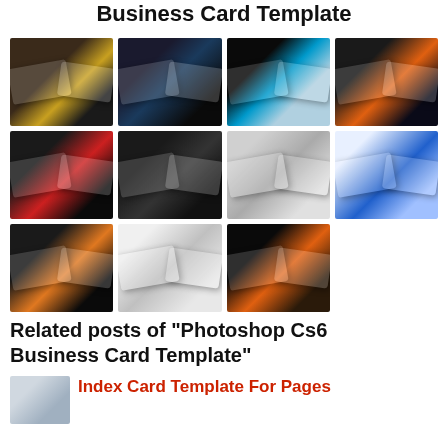Business Card Template
[Figure (photo): Grid of 11 business card template preview images arranged in 3 rows]
Related posts of "Photoshop Cs6 Business Card Template"
Index Card Template For Pages